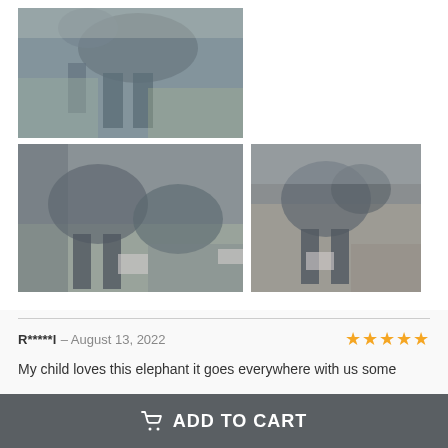[Figure (photo): Top photo of gray elephant stuffed animal plush toy on a table with green tablecloth]
[Figure (photo): Bottom left photo showing multiple gray elephant plush toys laid out on a green surface]
[Figure (photo): Bottom right photo of a gray elephant stuffed animal in a bag or carrier]
R*****l – August 13, 2022
My child loves this elephant it goes everywhere with us some
ADD TO CART